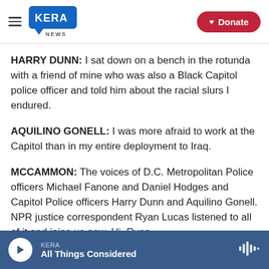KERA NEWS | Donate
HARRY DUNN: I sat down on a bench in the rotunda with a friend of mine who was also a Black Capitol police officer and told him about the racial slurs I endured.
AQUILINO GONELL: I was more afraid to work at the Capitol than in my entire deployment to Iraq.
MCCAMMON: The voices of D.C. Metropolitan Police officers Michael Fanone and Daniel Hodges and Capitol Police officers Harry Dunn and Aquilino Gonell. NPR justice correspondent Ryan Lucas listened to all of it and joins us now. Hi, Ryan.
KERA — All Things Considered